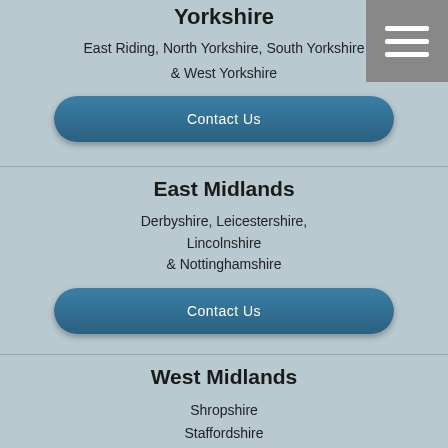Yorkshire
East Riding, North Yorkshire, South Yorkshire & West Yorkshire
Contact Us
East Midlands
Derbyshire, Leicestershire, Lincolnshire & Nottinghamshire
Contact Us
West Midlands
Shropshire
Staffordshire
& West Midlands